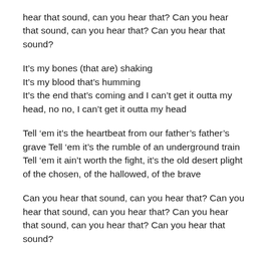hear that sound, can you hear that? Can you hear that sound, can you hear that? Can you hear that sound?
It’s my bones (that are) shaking
It’s my blood that’s humming
It’s the end that’s coming and I can’t get it outta my head, no no, I can’t get it outta my head
Tell ‘em it’s the heartbeat from our father’s father’s grave Tell ‘em it’s the rumble of an underground train
Tell ‘em it ain’t worth the fight, it’s the old desert plight of the chosen, of the hallowed, of the brave
Can you hear that sound, can you hear that? Can you hear that sound, can you hear that? Can you hear that sound, can you hear that? Can you hear that sound?